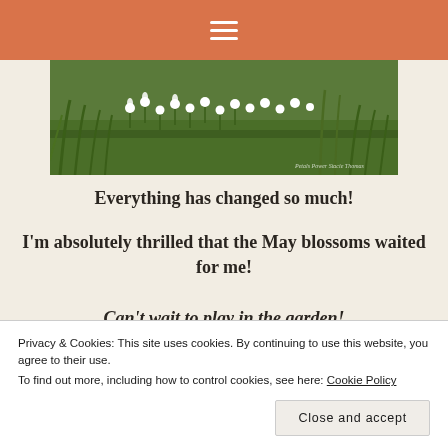≡ (navigation menu icon)
[Figure (photo): A garden scene with white flowers and green grass/plants in a wide landscape banner photo. Small text 'Petals Power Stacie Thomas' visible bottom right.]
Everything has changed so much!
I'm absolutely thrilled that the May blossoms waited for me!
Can't wait to play in the garden!
[Figure (photo): Purple flowers and foliage garden photo strip with text 'blossoms' visible at bottom.]
Privacy & Cookies: This site uses cookies. By continuing to use this website, you agree to their use.
To find out more, including how to control cookies, see here: Cookie Policy